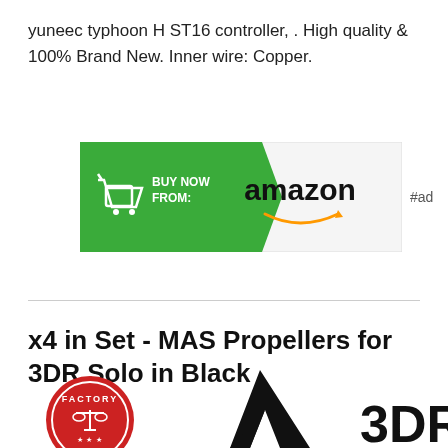yuneec typhoon H ST16 controller, . High quality & 100% Brand New. Inner wire: Copper.
[Figure (other): Buy Now from Amazon button banner with green chevron arrow, shopping cart icon, Amazon logo and orange smile, with #ad label]
x4 in Set - MAS Propellers for 3DR Solo in Black
[Figure (logo): Three brand logos partially visible at bottom: Factory logo (red circular badge), MAS logo (black geometric shape), 3DR logo (black text)]